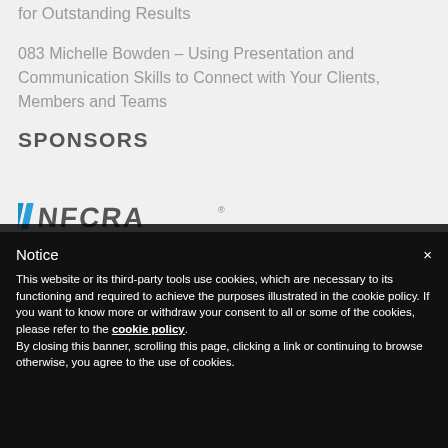for Outstanding Results
083 Michelle Bowden – Using Presentation and Communication Skills to Connect with Your Clients, Members and Teams
SPONSORS
[Figure (logo): Sponsor logo — stylized text logo with blue/grey striped lettering]
Notice
This website or its third-party tools use cookies, which are necessary to its functioning and required to achieve the purposes illustrated in the cookie policy. If you want to know more or withdraw your consent to all or some of the cookies, please refer to the cookie policy.
By closing this banner, scrolling this page, clicking a link or continuing to browse otherwise, you agree to the use of cookies.